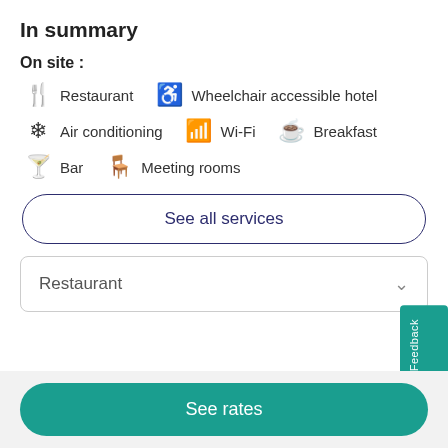In summary
On site :
Restaurant
Wheelchair accessible hotel
Air conditioning
Wi-Fi
Breakfast
Bar
Meeting rooms
See all services
Restaurant
See rates